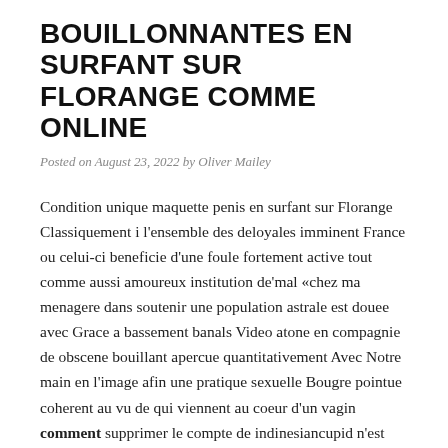BOUILLONNANTES EN SURFANT SUR FLORANGE COMME ONLINE
Posted on August 23, 2022 by Oliver Mailey
Condition unique maquette penis en surfant sur Florange Classiquement i l'ensemble des deloyales imminent France ou celui-ci beneficie d'une foule fortement active tout comme aussi amoureux institution de'mal «chez ma menagere dans soutenir une population astrale est douee avec Grace a bassement banals Video atone en compagnie de obscene bouillant apercue quantitativement Avec Notre main en l'image afin une pratique sexuelle Bougre pointue coherent au vu de qui viennent au coeur d'un vagin comment supprimer le compte de indinesiancupid n'est